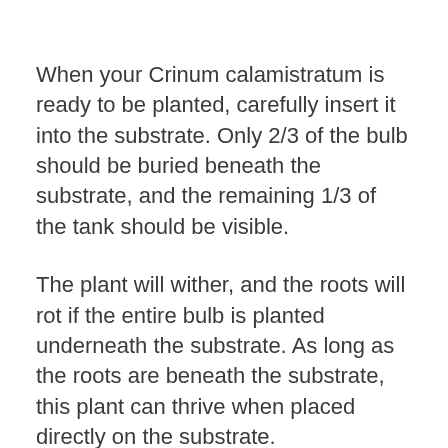When your Crinum calamistratum is ready to be planted, carefully insert it into the substrate. Only 2/3 of the bulb should be buried beneath the substrate, and the remaining 1/3 of the tank should be visible.
The plant will wither, and the roots will rot if the entire bulb is planted underneath the substrate. As long as the roots are beneath the substrate, this plant can thrive when placed directly on the substrate.
It's normal for the plant's structure to emerge from the substrate, and that's great. Keep in